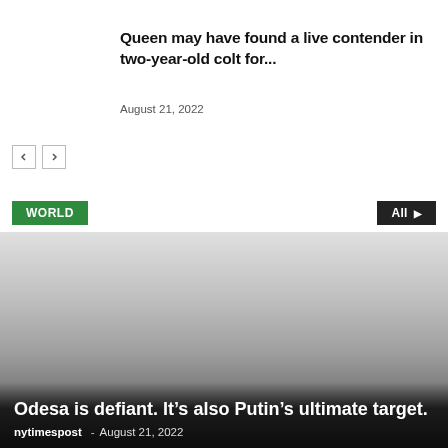Queen may have found a live contender in two-year-old colt for...
August 21, 2022
WORLD
[Figure (photo): Large outdoor photo with gradient from light gray at top to dark at bottom, serving as hero image background for a news article about Odesa]
Odesa is defiant. It’s also Putin’s ultimate target.
nytimespost - August 21, 2022